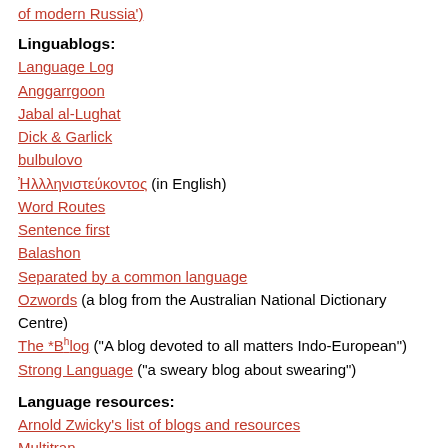of modern Russia')
Linguablogs:
Language Log
Anggarrgoon
Jabal al-Lughat
Dick & Garlick
bulbulovo
Ἠλλληνιστεύκοντος (in English)
Word Routes
Sentence first
Balashon
Separated by a common language
Ozwords (a blog from the Australian National Dictionary Centre)
The *Bhlog ("A blog devoted to all matters Indo-European")
Strong Language ("a sweary blog about swearing")
Language resources:
Arnold Zwicky's list of blogs and resources
Multitran
American Heritage Dictionary
Green's Dictionary of Slang
Wiktionary